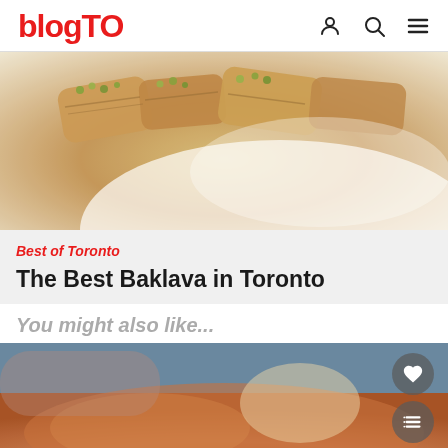blogTO
[Figure (photo): Close-up photo of baklava pastries with pistachio toppings on a white plate]
Best of Toronto
The Best Baklava in Toronto
You might also like...
[Figure (photo): Blurred photo of a pizza being served, with floating heart and list buttons]